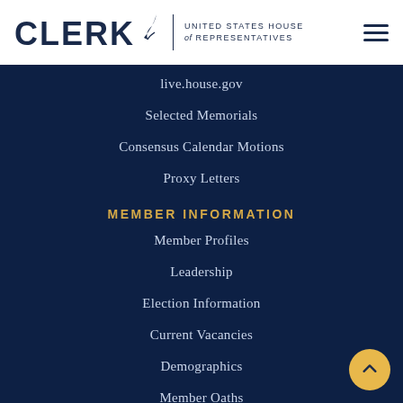[Figure (logo): Clerk United States House of Representatives logo with quill pen icon]
live.house.gov
Selected Memorials
Consensus Calendar Motions
Proxy Letters
MEMBER INFORMATION
Member Profiles
Leadership
Election Information
Current Vacancies
Demographics
Member Oaths